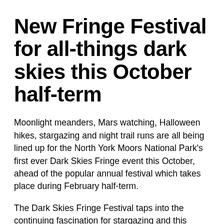New Fringe Festival for all-things dark skies this October half-term
Moonlight meanders, Mars watching, Halloween hikes, stargazing and night trail runs are all being lined up for the North York Moors National Park's first ever Dark Skies Fringe event this October, ahead of the popular annual festival which takes place during February half-term.
The Dark Skies Fringe Festival taps into the continuing fascination for stargazing and this year's resurgence of interest in the natural world, as well as people's quest for outdoor activities, be it in winter...